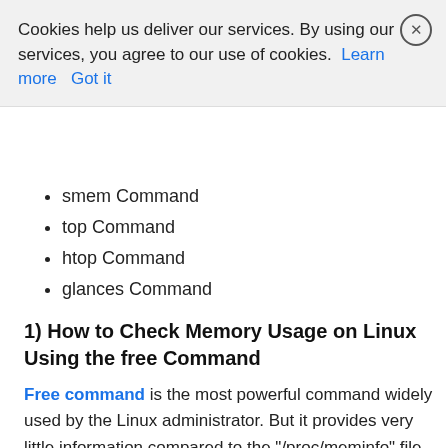/proc/meminfo File
vmstat Command
ps_mem Command
smem Command
top Command
htop Command
glances Command
1) How to Check Memory Usage on Linux Using the free Command
Free command is the most powerful command widely used by the Linux administrator. But it provides very little information compared to the "/proc/meminfo" file.
Free command displays the total amount of free and used physical and swap memory on the system, as well as buffers and caches used by the kernel.